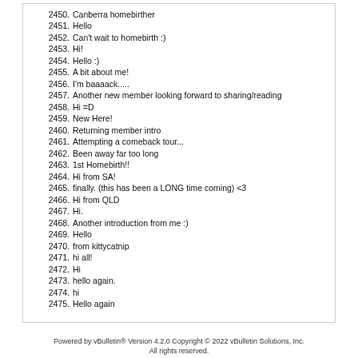2450. Canberra homebirther
2451. Hello
2452. Can't wait to homebirth :)
2453. Hi!
2454. Hello :)
2455. A bit about me!
2456. I'm baaaack.....
2457. Another new member looking forward to sharing/reading
2458. Hi =D
2459. New Here!
2460. Returning member intro
2461. Attempting a comeback tour...
2462. Been away far too long
2463. 1st Homebirth!!
2464. Hi from SA!
2465. finally. (this has been a LONG time coming) <3
2466. Hi from QLD
2467. Hi.
2468. Another introduction from me :)
2469. Hello
2470. from kittycatnip
2471. hi all!
2472. Hi
2473. hello again.
2474. hi
2475. Hello again
Powered by vBulletin® Version 4.2.0 Copyright © 2022 vBulletin Solutions, Inc. All rights reserved.